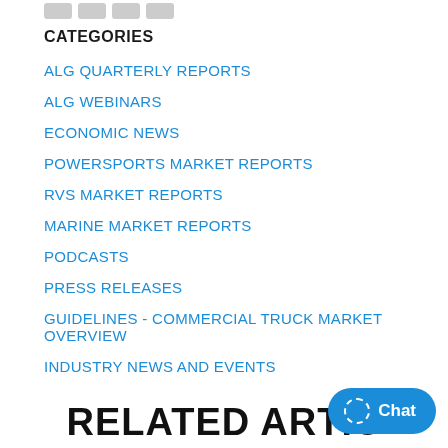CATEGORIES
ALG QUARTERLY REPORTS
ALG WEBINARS
ECONOMIC NEWS
POWERSPORTS MARKET REPORTS
RVS MARKET REPORTS
MARINE MARKET REPORTS
PODCASTS
PRESS RELEASES
GUIDELINES - COMMERCIAL TRUCK MARKET OVERVIEW
INDUSTRY NEWS AND EVENTS
RELATED ARTICLES